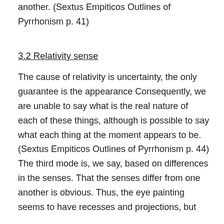another. (Sextus Empiticos Outlines of Pyrrhonism p. 41)
3.2 Relativity sense
The cause of relativity is uncertainty, the only guarantee is the appearance Consequently, we are unable to say what is the real nature of each of these things, although is possible to say what each thing at the moment appears to be. (Sextus Empiticos Outlines of Pyrrhonism p. 44) The third mode is, we say, based on differences in the senses. That the senses differ from one another is obvious. Thus, the eye painting seems to have recesses and projections, but